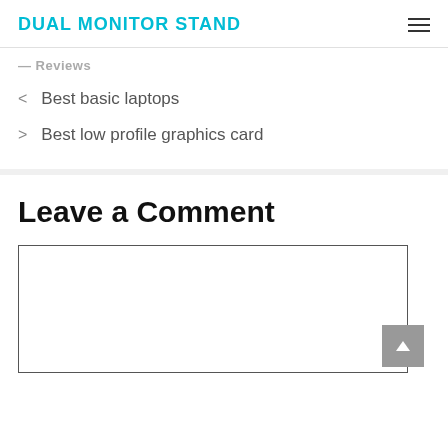DUAL MONITOR STAND
< Reviews
< Best basic laptops
> Best low profile graphics card
Leave a Comment